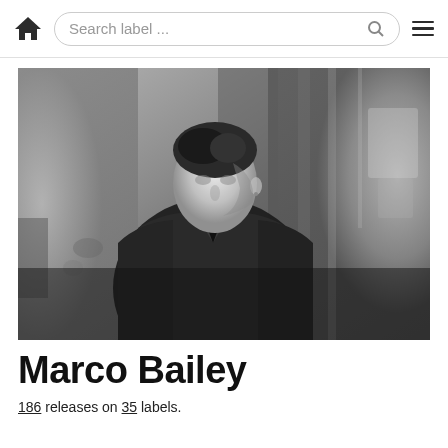Search label ...
[Figure (photo): Black and white portrait photograph of Marco Bailey, a man in a dark jacket standing against a textured concrete/stone wall background, looking slightly to the side.]
Marco Bailey
186 releases on 35 labels.